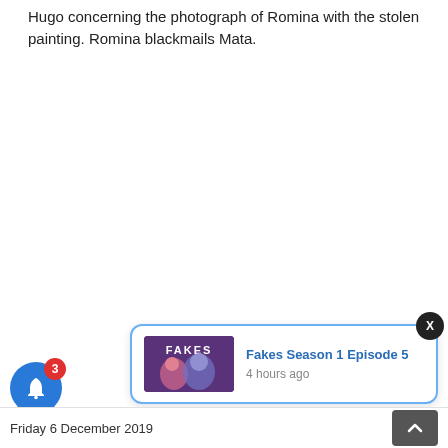Hugo concerning the photograph of Romina with the stolen painting. Romina blackmails Mata.
[Figure (screenshot): Notification popup with thumbnail image for 'Fakes' TV show with title 'Fakes Season 1 Episode 5' and timestamp '4 hours ago', with a close X button]
[Figure (infographic): Blue circular bell notification button with red badge showing number 3]
Friday 6 December 2019